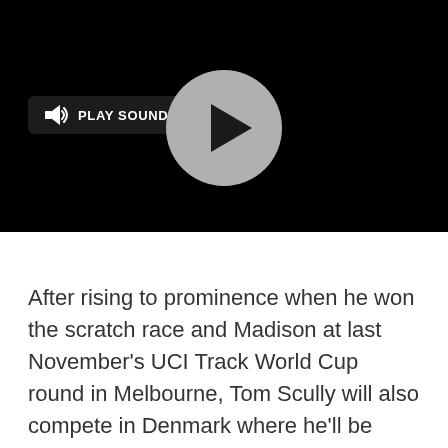[Figure (screenshot): A video player with a black background. On the left side there is a speaker/sound icon button with the label 'PLAY SOUND' in white text on a dark rounded rectangle. In the center there is a large gray circular play button with a dark triangular play arrow inside.]
After rising to prominence when he won the scratch race and Madison at last November's UCI Track World Cup round in Melbourne, Tom Scully will also compete in Denmark where he'll be aiming to further